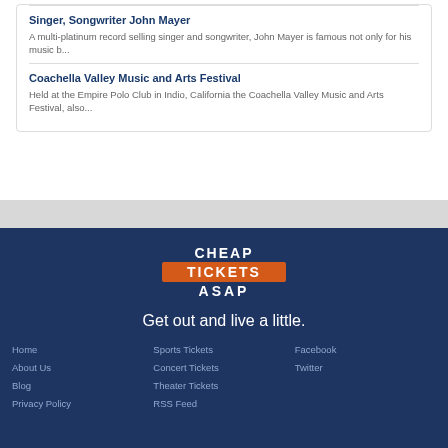Singer, Songwriter John Mayer
A multi-platinum record selling singer and songwriter, John Mayer is famous not only for his music b...
Coachella Valley Music and Arts Festival
Held at the Empire Polo Club in Indio, California the Coachella Valley Music and Arts Festival, also...
[Figure (logo): Cheap Tickets ASAP logo with orange banner and white text]
Get out and live a little.
Home | About Us | Blog | Privacy Policy | Sports Tickets | Concert Tickets | Theater Tickets | RSS Feed | Facebook | Twitter